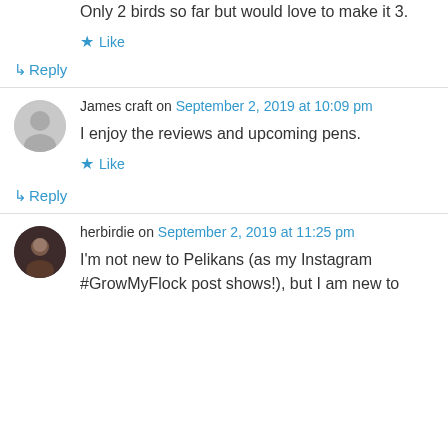Only 2 birds so far but would love to make it 3.
Like
↳ Reply
James craft on September 2, 2019 at 10:09 pm
I enjoy the reviews and upcoming pens.
Like
↳ Reply
herbirdie on September 2, 2019 at 11:25 pm
I'm not new to Pelikans (as my Instagram #GrowMyFlock post shows!), but I am new to